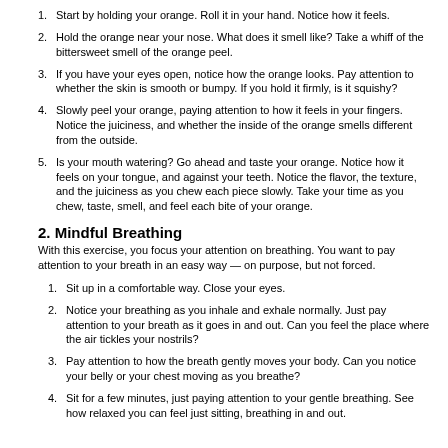1. Start by holding your orange. Roll it in your hand. Notice how it feels.
2. Hold the orange near your nose. What does it smell like? Take a whiff of the bittersweet smell of the orange peel.
3. If you have your eyes open, notice how the orange looks. Pay attention to whether the skin is smooth or bumpy. If you hold it firmly, is it squishy?
4. Slowly peel your orange, paying attention to how it feels in your fingers. Notice the juiciness, and whether the inside of the orange smells different from the outside.
5. Is your mouth watering? Go ahead and taste your orange. Notice how it feels on your tongue, and against your teeth. Notice the flavor, the texture, and the juiciness as you chew each piece slowly. Take your time as you chew, taste, smell, and feel each bite of your orange.
2. Mindful Breathing
With this exercise, you focus your attention on breathing. You want to pay attention to your breath in an easy way — on purpose, but not forced.
1. Sit up in a comfortable way. Close your eyes.
2. Notice your breathing as you inhale and exhale normally. Just pay attention to your breath as it goes in and out. Can you feel the place where the air tickles your nostrils?
3. Pay attention to how the breath gently moves your body. Can you notice your belly or your chest moving as you breathe?
4. Sit for a few minutes, just paying attention to your gentle breathing. See how relaxed you can feel just sitting, breathing in and out.